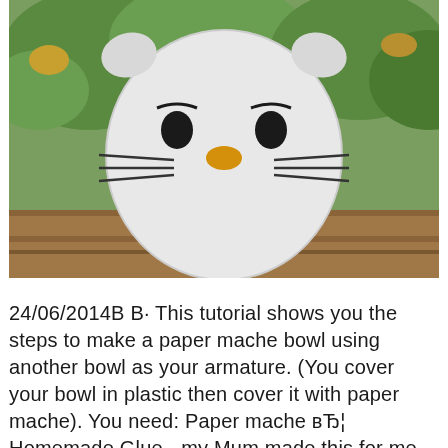[Figure (photo): A paper mache Hello Kitty head sculpture sitting on a wooden railing outdoors, with green foliage in the background. The sculpture is white with black eyes, black whiskers, and a yellow/orange nose.]
24/06/2014В В· This tutorial shows you the steps to make a paper mache bowl using another bowl as your armature. (You cover your bowl in plastic then cover it with paper mache). You need: Paper mache вЂ¦ Homemade Glue - my Mum made this for me when I was growing up & I am happy to share it with you too! More information Homemade Glue - Perfect for home paper crafts like Paper Mache and so